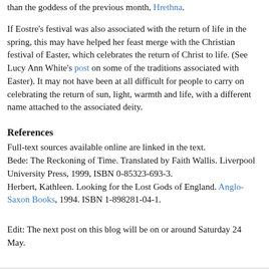than the goddess of the previous month, Hrethna.
If Eostre's festival was also associated with the return of life in the spring, this may have helped her feast merge with the Christian festival of Easter, which celebrates the return of Christ to life. (See Lucy Ann White's post on some of the traditions associated with Easter). It may not have been at all difficult for people to carry on celebrating the return of sun, light, warmth and life, with a different name attached to the associated deity.
References
Full-text sources available online are linked in the text.
Bede: The Reckoning of Time. Translated by Faith Wallis. Liverpool University Press, 1999, ISBN 0-85323-693-3.
Herbert, Kathleen. Looking for the Lost Gods of England. Anglo-Saxon Books, 1994. ISBN 1-898281-04-1.
Edit: The next post on this blog will be on or around Saturday 24 May.